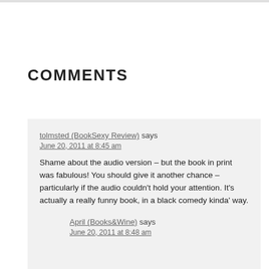COMMENTS
tolmsted (BookSexy Review) says
June 20, 2011 at 8:45 am
Shame about the audio version – but the book in print was fabulous! You should give it another chance – particularly if the audio couldn't hold your attention. It's actually a really funny book, in a black comedy kinda' way.
tolmsted (BookSexy Review) recently posted.. Okko: The Cycle of Water (a French graphic novel)
April (Books&Wine) says
June 20, 2011 at 8:48 am